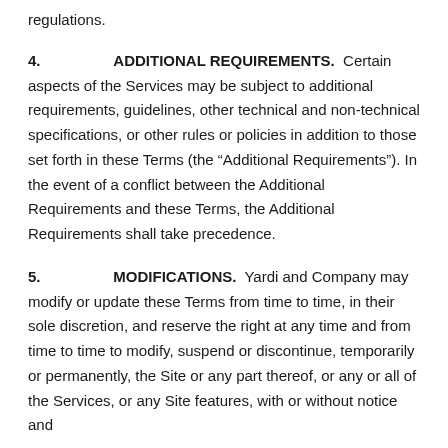regulations.
4.    ADDITIONAL REQUIREMENTS.
Certain aspects of the Services may be subject to additional requirements, guidelines, other technical and non-technical specifications, or other rules or policies in addition to those set forth in these Terms (the “Additional Requirements”). In the event of a conflict between the Additional Requirements and these Terms, the Additional Requirements shall take precedence.
5.    MODIFICATIONS.
Yardi and Company may modify or update these Terms from time to time, in their sole discretion, and reserve the right at any time and from time to time to modify, suspend or discontinue, temporarily or permanently, the Site or any part thereof, or any or all of the Services, or any Site features, with or without notice and